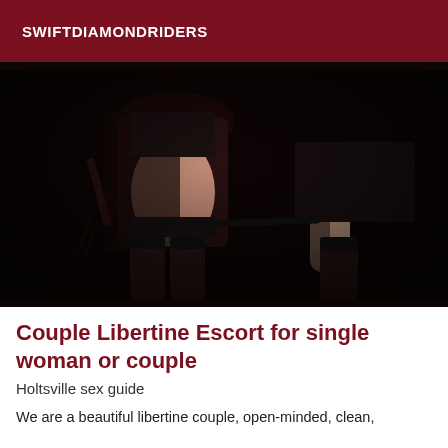SWIFTDIAMONDRIDERS
[Figure (photo): A dark, artistic photo of two figures in black lingerie and stockings against a black background]
Couple Libertine Escort for single woman or couple
Holtsville sex guide
We are a beautiful libertine couple, open-minded, clean,